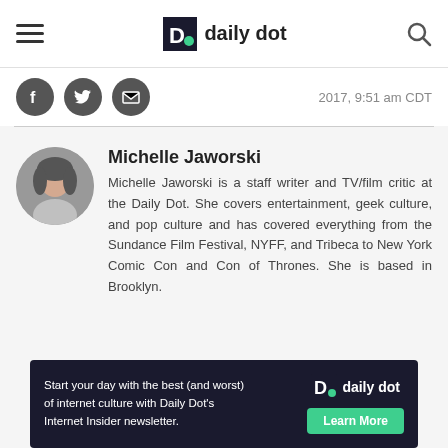daily dot
2017, 9:51 am CDT
[Figure (other): Author photo of Michelle Jaworski, circular headshot]
Michelle Jaworski
Michelle Jaworski is a staff writer and TV/film critic at the Daily Dot. She covers entertainment, geek culture, and pop culture and has covered everything from the Sundance Film Festival, NYFF, and Tribeca to New York Comic Con and Con of Thrones. She is based in Brooklyn.
Start your day with the best (and worst) of internet culture with Daily Dot's Internet Insider newsletter.